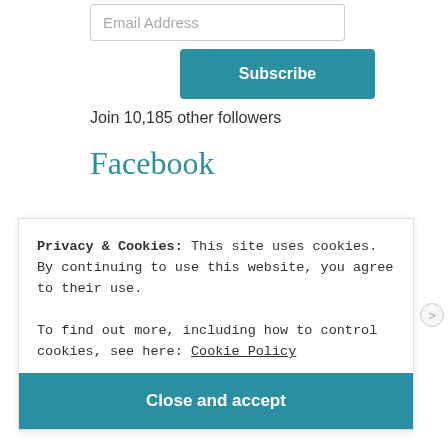Email Address
Subscribe
Join 10,185 other followers
Facebook
Keep up with me on Twitter
Privacy & Cookies: This site uses cookies. By continuing to use this website, you agree to their use. To find out more, including how to control cookies, see here: Cookie Policy
Close and accept